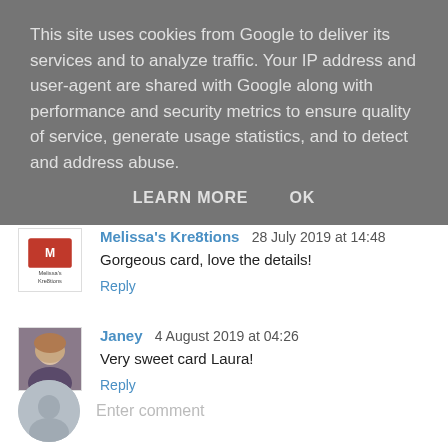This site uses cookies from Google to deliver its services and to analyze traffic. Your IP address and user-agent are shared with Google along with performance and security metrics to ensure quality of service, generate usage statistics, and to detect and address abuse.
LEARN MORE   OK
Melissa's Kre8tions  28 July 2019 at 14:48
Gorgeous card, love the details!
Reply
[Figure (photo): Melissa's Kre8tions blog avatar/logo — small square image with red/pink logo and text 'Melissa's Kre8tions']
Janey  4 August 2019 at 04:26
Very sweet card Laura!
Reply
[Figure (photo): Janey commenter avatar — photo of a woman with light hair]
Enter comment